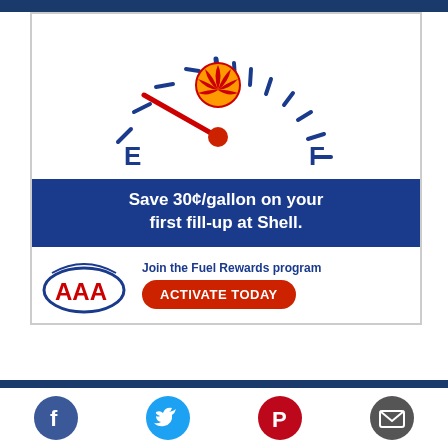[Figure (infographic): AAA Shell Fuel Rewards advertisement. Shows a fuel gauge with needle pointing near empty (E side), Shell logo in center of gauge dial. Blue banner reads 'Save 30¢/gallon on your first fill-up at Shell.' Below: AAA logo with text 'Join the Fuel Rewards program' and red 'ACTIVATE TODAY' button.]
[Figure (infographic): Social media share buttons: Facebook (blue circle with f), Twitter (cyan circle with bird), Pinterest (red circle with P), Email (dark grey circle with envelope icon).]